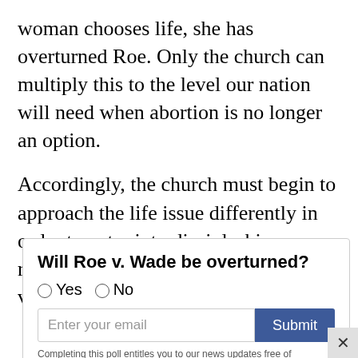woman chooses life, she has overturned Roe. Only the church can multiply this to the level our nation will need when abortion is no longer an option.
Accordingly, the church must begin to approach the life issue differently in order to enter into discipleship relationships with the abortion-vulnerable.
[Figure (other): Poll widget asking 'Will Roe v. Wade be overturned?' with Yes/No radio buttons, an email input field, a Submit button, and a note about completing the poll entitling you to news updates free of charge.]